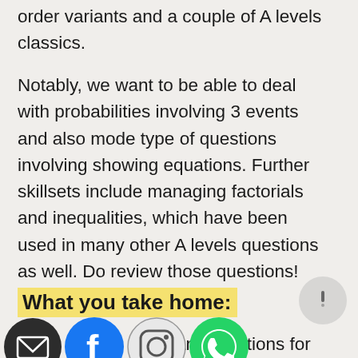order variants and a couple of A levels classics.
Notably, we want to be able to deal with probabilities involving 3 events and also mode type of questions involving showing equations. Further skillsets include managing factorials and inequalities, which have been used in many other A levels questions as well. Do review those questions!
What you take home:
Worksheets Quiz D and Solutions for Quiz C have been updated into